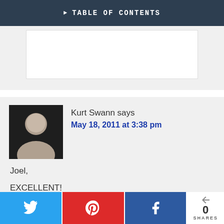TABLE OF CONTENTS
[Figure (other): Advertisement placeholder white box in gray area]
Kurt Swann says
May 18, 2011 at 3:38 pm

Joel,

EXCELLENT!
0 SHARES — Twitter, Pinterest, Facebook share buttons